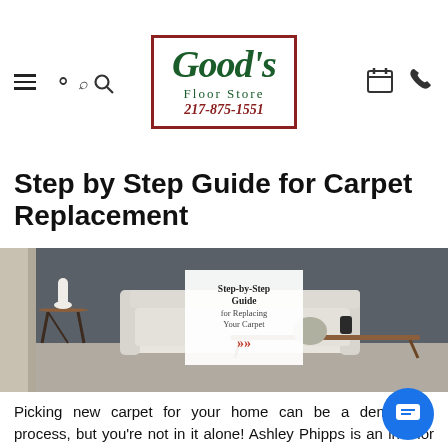Good's Floor Store 217-875-1551
Step by Step Guide for Carpet Replacement
[Figure (photo): A modern living room interior with light gray carpet, a white sofa, round side table with a white vase, and coffee table with decorative items. An overlay card reads 'Step-by-Step Guide for Replacing Your Carpet' with a red arrow icon.]
Picking new carpet for your home can be a demanding process, but you're not in it alone! Ashley Phipps is an interior designer turned DIY and craft blogger who went through the process